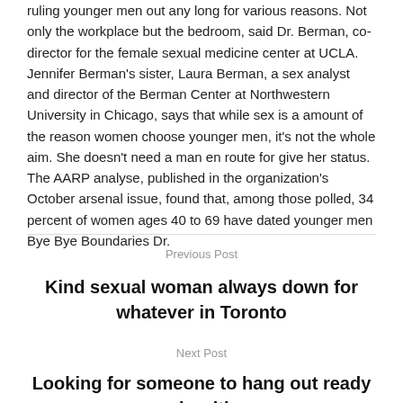ruling younger men out any long for various reasons. Not only the workplace but the bedroom, said Dr. Berman, co-director for the female sexual medicine center at UCLA. Jennifer Berman's sister, Laura Berman, a sex analyst and director of the Berman Center at Northwestern University in Chicago, says that while sex is a amount of the reason women choose younger men, it's not the whole aim. She doesn't need a man en route for give her status. The AARP analyse, published in the organization's October arsenal issue, found that, among those polled, 34 percent of women ages 40 to 69 have dated younger men Bye Bye Boundaries Dr.
Previous Post
Kind sexual woman always down for whatever in Toronto
Next Post
Looking for someone to hang out ready and waiting